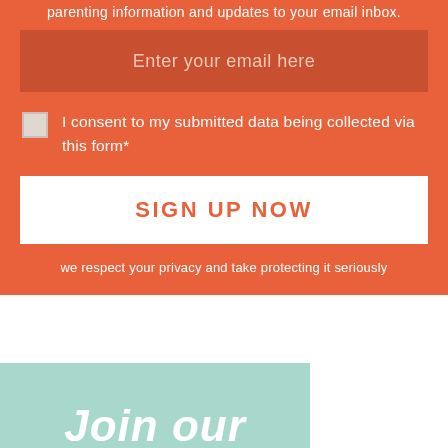parenting information and updates to your email inbox.
Enter your email here
I consent to my submitted data being collected via this form*
SIGN UP NOW
we respect your privacy and take protecting it seriously
[Figure (infographic): Teal/mint colored box with large white italic bold text reading 'Join our']